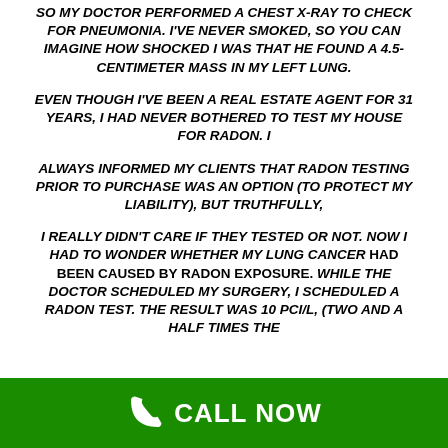SO MY DOCTOR PERFORMED A CHEST X-RAY TO CHECK FOR PNEUMONIA. I'VE NEVER SMOKED, SO YOU CAN IMAGINE HOW SHOCKED I WAS THAT HE FOUND A 4.5-CENTIMETER MASS IN MY LEFT LUNG.
EVEN THOUGH I'VE BEEN A REAL ESTATE AGENT FOR 31 YEARS, I HAD NEVER BOTHERED TO TEST MY HOUSE FOR RADON. I
ALWAYS INFORMED MY CLIENTS THAT RADON TESTING PRIOR TO PURCHASE WAS AN OPTION (TO PROTECT MY LIABILITY), BUT TRUTHFULLY,
I REALLY DIDN'T CARE IF THEY TESTED OR NOT. NOW I HAD TO WONDER WHETHER MY LUNG CANCER HAD BEEN CAUSED BY RADON EXPOSURE. WHILE THE DOCTOR SCHEDULED MY SURGERY, I SCHEDULED A RADON TEST. THE RESULT WAS 10 PCI/L, (TWO AND A HALF TIMES THE
CALL NOW